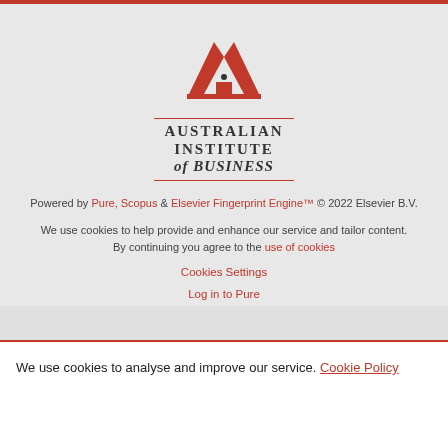[Figure (logo): Australian Institute of Business logo — red chevron/arrow mark above text reading AUSTRALIAN INSTITUTE of BUSINESS with red horizontal rules]
Powered by Pure, Scopus & Elsevier Fingerprint Engine™ © 2022 Elsevier B.V.
We use cookies to help provide and enhance our service and tailor content. By continuing you agree to the use of cookies
Cookies Settings
Log in to Pure
We use cookies to analyse and improve our service. Cookie Policy